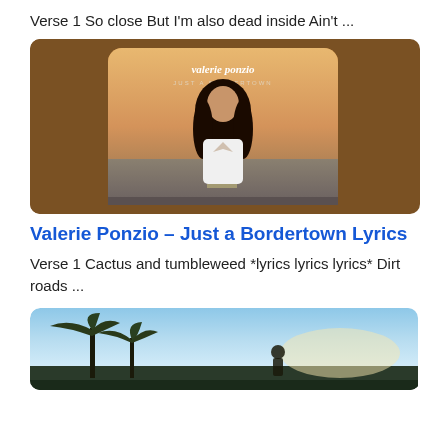Verse 1 So close But I'm also dead inside Ain't ...
[Figure (photo): Album cover for Valerie Ponzio - Just a Bordertown, showing a woman with long dark hair standing on a desert road at sunset, with brown background]
Valerie Ponzio – Just a Bordertown Lyrics
Verse 1 Cactus and tumbleweed *lyrics lyrics lyrics* Dirt roads ...
[Figure (photo): Outdoor scene with palm tree silhouettes against a sunset sky, with a person standing in the distance]